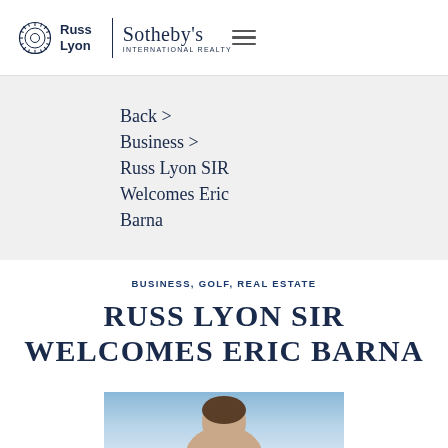Russ Lyon | Sotheby's International Realty
Back >
Business >
Russ Lyon SIR Welcomes Eric Barna
BUSINESS, GOLF, REAL ESTATE
RUSS LYON SIR WELCOMES ERIC BARNA
[Figure (photo): Portrait photo of Eric Barna, partially visible at bottom of page, outdoor background with blue sky]